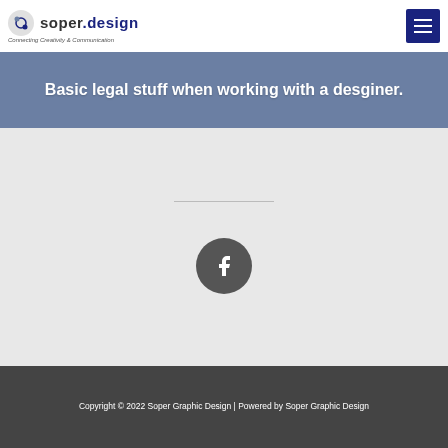soper.design — Connecting Creativity & Communication
Basic legal stuff when working with a desginer.
[Figure (other): Facebook social media icon button — dark grey circle with white letter f]
Copyright © 2022 Soper Graphic Design | Powered by Soper Graphic Design